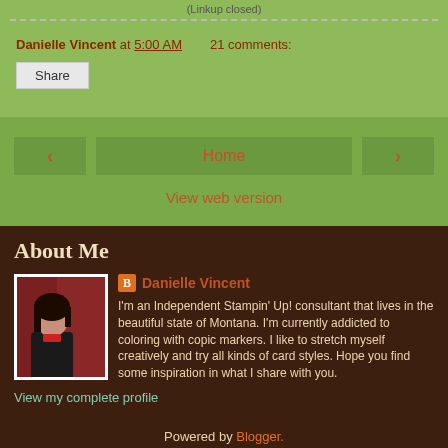(Linkup closed)
Danielle Vincent at 5:00 AM   21 comments:
Share
‹
Home
›
View web version
About Me
[Figure (photo): Profile photo of Danielle Vincent, a woman with dark hair wearing a black jacket, standing in front of a red/maroon background]
Danielle Vincent
I'm an Independent Stampin' Up! consultant that lives in the beautiful state of Montana. I'm currently addicted to coloring with copic markers. I like to stretch myself creatively and try all kinds of card styles. Hope you find some inspiration in what I share with you.
View my complete profile
Powered by Blogger.